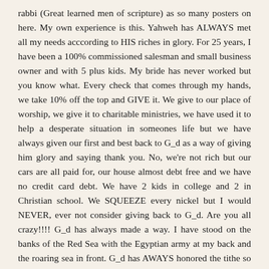rabbi (Great learned men of scripture) as so many posters on here. My own experience is this. Yahweh has ALWAYS met all my needs acccording to HIS riches in glory. For 25 years, I have been a 100% commissioned salesman and small business owner and with 5 plus kids. My bride has never worked but you know what. Every check that comes through my hands, we take 10% off the top and GIVE it. We give to our place of worship, we give it to charitable ministries, we have used it to help a desperate situation in someones life but we have always given our first and best back to G_d as a way of giving him glory and saying thank you. No, we're not rich but our cars are all paid for, our house almost debt free and we have no credit card debt. We have 2 kids in college and 2 in Christian school. We SQUEEZE every nickel but I would NEVER, ever not consider giving back to G_d. Are you all crazy!!!! G_d has always made a way. I have stood on the banks of the Red Sea with the Egyptian army at my back and the roaring sea in front. G_d has AWAYS honored the tithe so go ahead and look for ways to skirt the blessings. Go ahead and justify not giving. Go ahead and do G_d a favor and give your 2-3% but you will be the one that misses out on the blessing that could be yours. One plus one plus G_d equals anything he wants it to equal. Where you treasure is, there is where your heart is. As